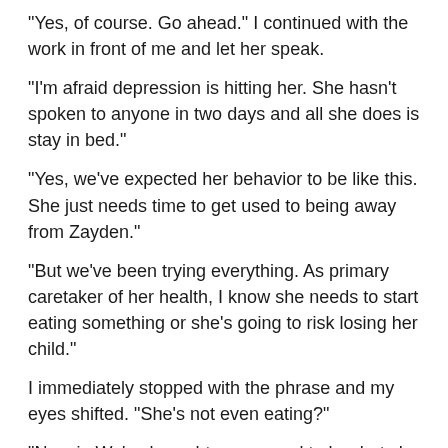“Yes, of course. Go ahead.” I continued with the work in front of me and let her speak.
“I’m afraid depression is hitting her. She hasn’t spoken to anyone in two days and all she does is stay in bed.”
“Yes, we’ve expected her behavior to be like this. She just needs time to get used to being away from Zayden.”
“But we’ve been trying everything. As primary caretaker of her health, I know she needs to start eating something or she’s going to risk losing her child.”
I immediately stopped with the phrase and my eyes shifted. “She’s not even eating?”
“No, sir. We’ve brought every meal to her but she never touches a bite. I think she needs to hear reason by someone she’ll listen to.”
“Well, I hear that’s few and her father has already returned to Kalu.”